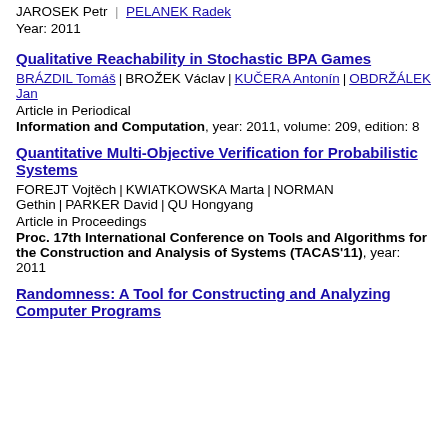JAROSEK Petr | PELANEK Radek
Year: 2011
Qualitative Reachability in Stochastic BPA Games
BRÁZDIL Tomáš | BROŽEK Václav | KUČERA Antonín | OBDRŽÁLEK Jan
Article in Periodical
Information and Computation, year: 2011, volume: 209, edition: 8
Quantitative Multi-Objective Verification for Probabilistic Systems
FOREJT Vojtěch | KWIATKOWSKA Marta | NORMAN Gethin | PARKER David | QU Hongyang
Article in Proceedings
Proc. 17th International Conference on Tools and Algorithms for the Construction and Analysis of Systems (TACAS'11), year: 2011
Randomness: A Tool for Constructing and Analyzing Computer Programs